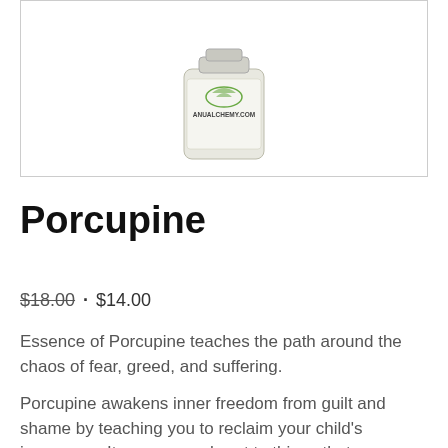[Figure (photo): Product photo of a small bottle/jar with a green logo and text reading ANUALCHEMY.COM on the label, shown in a white bordered box]
Porcupine
$18.00 · $14.00
Essence of Porcupine teaches the path around the chaos of fear, greed, and suffering.
Porcupine awakens inner freedom from guilt and shame by teaching you to reclaim your child's innocence. It opens your heart to things that gave you joy as a child. It awakens an inner knowingness of who you are and the ability to trust that it is safe to be who you are. It also